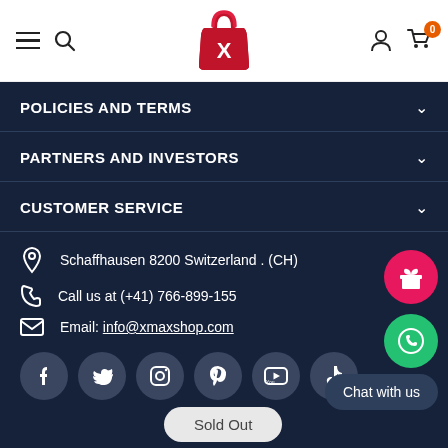Navigation bar with hamburger menu, search, logo, user icon, and cart (0)
POLICIES AND TERMS
PARTNERS AND INVESTORS
CUSTOMER SERVICE
Schaffhausen 8200 Switzerland . (CH)
Call us at (+41) 766-899-155
Email: info@xmaxshop.com
Social media icons: Facebook, Twitter, Instagram, Pinterest, YouTube, TikTok
Chat with us
Sold Out